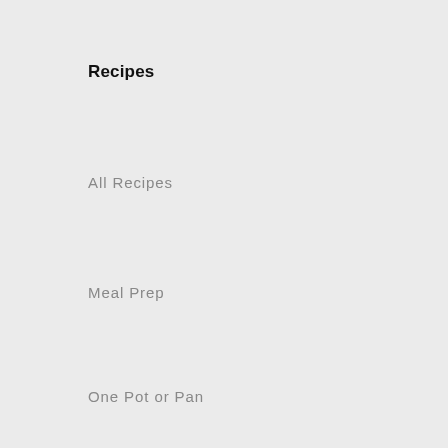Recipes
All Recipes
Meal Prep
One Pot or Pan
Quick and Easy
Weeknight
Quick links
Contact Us
Support